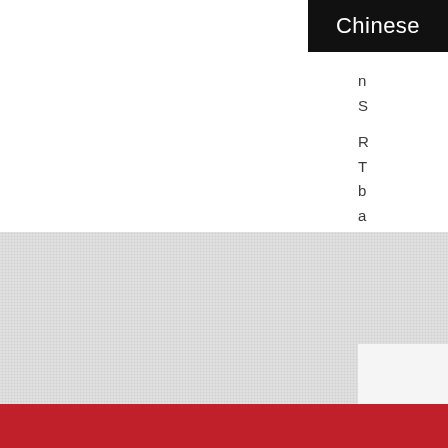Chinese
n
S

R
T
b
a

W
F
G
[Figure (other): Gray textured background section with white card in bottom-right corner, and a red footer bar at the bottom of the page.]